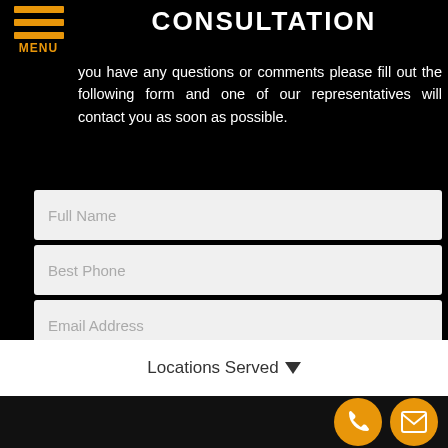CONSULTATION
you have any questions or comments please fill out the following form and one of our representatives will contact you as soon as possible.
[Figure (screenshot): Web contact form with fields: Full Name, Best Phone, Email Address, How Can We Help You?, and a Submit My Request button]
Locations Served
Phone and email contact icons